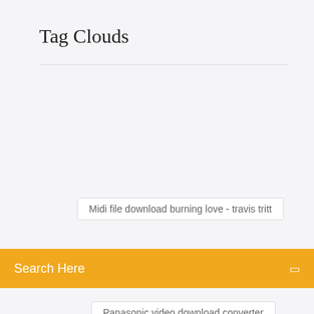Tag Clouds
Midi file download burning love - travis tritt
Search Here
Panasonic video download converter
Download free apps without credit card ios
Empty temp files free download
Talent is overrated book pdf download
How to download emulator for pc